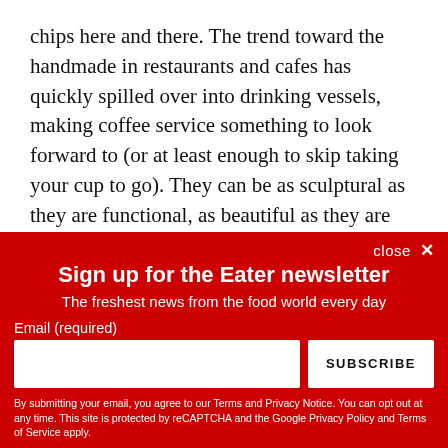chips here and there. The trend toward the handmade in restaurants and cafes has quickly spilled over into drinking vessels, making coffee service something to look forward to (or at least enough to skip taking your cup to go). They can be as sculptural as they are functional, as beautiful as they are durable, and maybe even in the shape of a rum barrel.
[Figure (screenshot): Partial view of a dark video player bar]
close ×
Sign up for the Eater newsletter
The freshest news from the food world every day
Email (required)
[email input field] SUBSCRIBE
By submitting your email, you agree to our Terms and Privacy Notice. You can opt out at any time. This site is protected by reCAPTCHA and the Google Privacy Policy and Terms of Service apply.